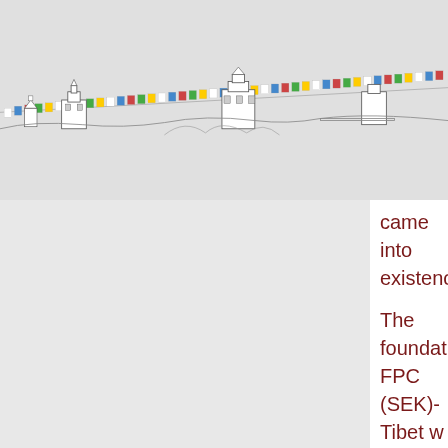[Figure (illustration): Illustrated skyline of Tibetan monasteries and buildings with colorful prayer flags strung between them, drawn in a sketch/line-art style on a light gray background.]
came into existence.
The foundation FPC (SEK)-Tibet w... are non-political and act in an infor... Tibetan culture outside of Tibet. Co... to protect and maintain the original... monasteries for tourists while there... genuine Buddhism. Some authenti... preserved by the Chinese to show ... despite the fact that they have tran...
There is a lot to do, but some proje...
The foundation FPC (SEK) -Tibet d... of maintaining Tibetan culture and ... support (with whatever means it ha... maintain Tibetan culture. Since its...